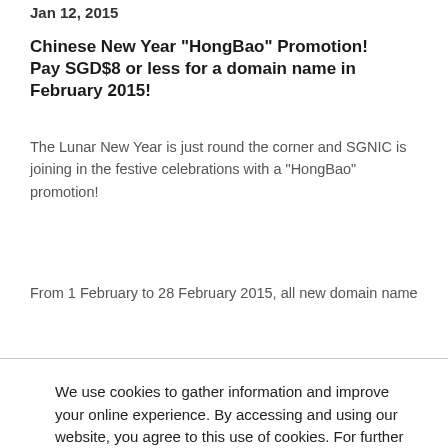Jan 12, 2015
Chinese New Year "HongBao" Promotion!
Pay SGD$8 or less for a domain name in February 2015!
The Lunar New Year is just round the corner and SGNIC is joining in the festive celebrations with a "HongBao" promotion!
From 1 February to 28 February 2015, all new domain name registrations in the .sg portfolio and
We use cookies to gather information and improve your online experience. By accessing and using our website, you agree to this use of cookies. For further details, refer to our Privacy Policy.
OK
Participating Registrars
Pricing